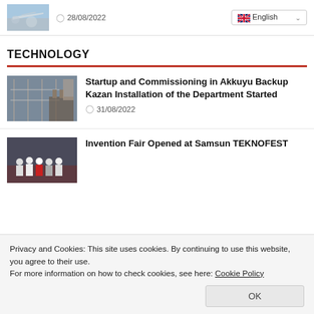[Figure (photo): Airplane thumbnail image]
28/08/2022
English
TECHNOLOGY
[Figure (photo): Electrical infrastructure / power station thumbnail]
Startup and Commissioning in Akkuyu Backup Kazan Installation of the Department Started
31/08/2022
[Figure (photo): Group of people at event / fair thumbnail]
Invention Fair Opened at Samsun TEKNOFEST
Privacy and Cookies: This site uses cookies. By continuing to use this website, you agree to their use.
For more information on how to check cookies, see here: Cookie Policy